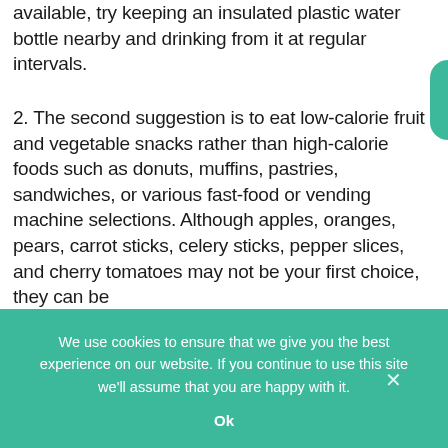available, try keeping an insulated plastic water bottle nearby and drinking from it at regular intervals.
2. The second suggestion is to eat low-calorie fruit and vegetable snacks rather than high-calorie foods such as donuts, muffins, pastries, sandwiches, or various fast-food or vending machine selections. Although apples, oranges, pears, carrot sticks, celery sticks, pepper slices, and cherry tomatoes may not be your first choice, they can be
We use cookies to ensure that we give you the best experience on our website. If you continue to use this site we'll assume that you are happy with it.
Ok